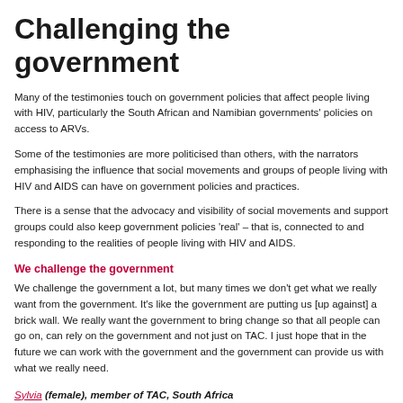Challenging the government
Many of the testimonies touch on government policies that affect people living with HIV, particularly the South African and Namibian governments' policies on access to ARVs.
Some of the testimonies are more politicised than others, with the narrators emphasising the influence that social movements and groups of people living with HIV and AIDS can have on government policies and practices.
There is a sense that the advocacy and visibility of social movements and support groups could also keep government policies 'real' – that is, connected to and responding to the realities of people living with HIV and AIDS.
We challenge the government
We challenge the government a lot, but many times we don't get what we really want from the government. It's like the government are putting us [up against] a brick wall. We really want the government to bring change so that all people can go on, can rely on the government and not just on TAC. I just hope that in the future we can work with the government and the government can provide us with what we really need.
Sylvia (female), member of TAC, South Africa
Connecting MPs and communities